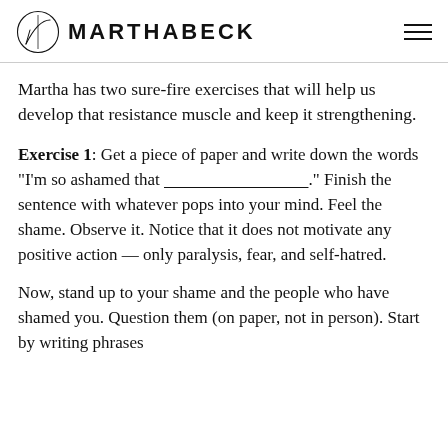MARTHABECK
Martha has two sure-fire exercises that will help us develop that resistance muscle and keep it strengthening.
Exercise 1: Get a piece of paper and write down the words “I’m so ashamed that ___________________.” Finish the sentence with whatever pops into your mind. Feel the shame. Observe it. Notice that it does not motivate any positive action — only paralysis, fear, and self-hatred.
Now, stand up to your shame and the people who have shamed you. Question them (on paper, not in person). Start by writing phrases